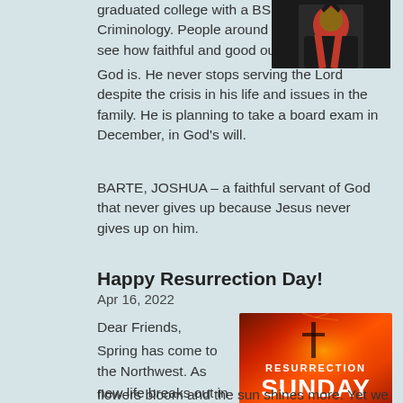graduated college with a BS in Criminology. People around him can see how faithful and good our God is. He never stops serving the Lord despite the crisis in his life and issues in the family. He is planning to take a board exam in December, in God's will.
[Figure (photo): Person in graduation robe with red stole]
BARTE, JOSHUA – a faithful servant of God that never gives up because Jesus never gives up on him.
Happy Resurrection Day!
Apr 16, 2022
Dear Friends,
Spring has come to the Northwest. As new life breaks out in the trees,
[Figure (photo): Resurrection Sunday graphic with red sunset sky and cross, bold white text reading RESURRECTION SUNDAY]
flowers bloom and the sun shines more. Yet we still